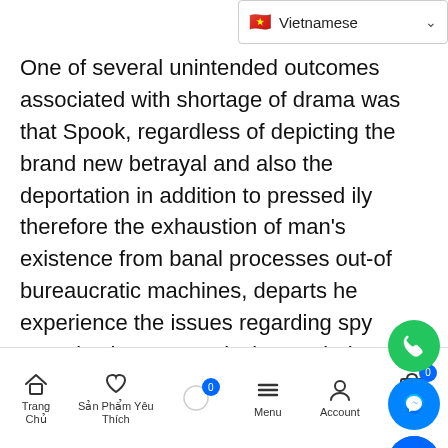Vietnamese
One of several unintended outcomes associated with shortage of drama was that Spook, regardless of depicting the brand new betrayal and also the deportation in addition to pressed ily therefore the exhaustion of man's existence from banal processes out-of bureaucratic machines, departs he experience the issues regarding spy organizations are typical some lark. During the smothering the latest remarkable possible of this material, The latest Spook renders the impression your prior are a far more innocent put.
[Figure (screenshot): Social media floating action buttons: phone (green), Messenger (blue), Zalo (blue), scroll-to-top (dark)]
Trang Chủ | Sản Phẩm Yêu Thích | Menu | Account | Giỏ Hàng